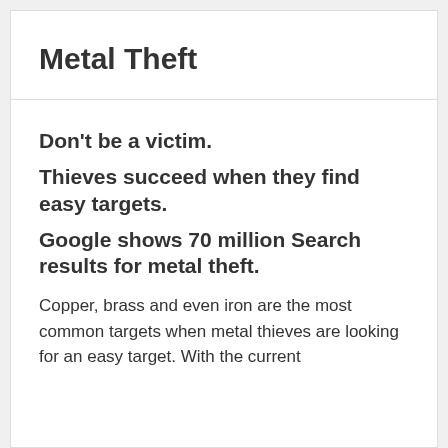Metal Theft
Don't be a victim.
Thieves succeed when they find easy targets.
Google shows 70 million Search results for metal theft.
Copper, brass and even iron are the most common targets when metal thieves are looking for an easy target. With the current